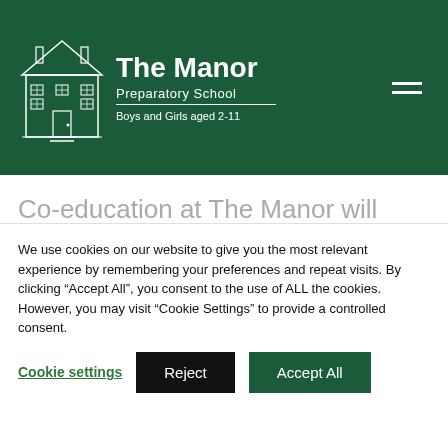The Manor Preparatory School — Boys and Girls aged 2-11
Co-education at The Manor will mean an even wider range of clubs and activities for all children. The completion of a new Sports Hall in September
We use cookies on our website to give you the most relevant experience by remembering your preferences and repeat visits. By clicking "Accept All", you consent to the use of ALL the cookies. However, you may visit "Cookie Settings" to provide a controlled consent.
Cookie settings | Reject | Accept All